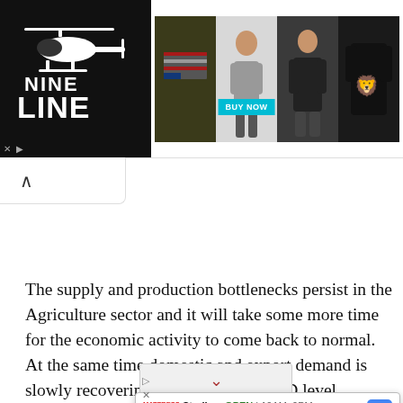[Figure (screenshot): Nine Line apparel advertisement banner at top of page, showing helicopter logo with 'NINE LINE' text on black background on left, and product images including American flag patch, t-shirts with 'BUY NOW' button on right]
[Figure (screenshot): Browser UI element showing scroll-up arrow button in a white rounded box below the ad banner]
The supply and production bottlenecks persist in the Agriculture sector and it will take some more time for the economic activity to come back to normal. At the same time domestic and export demand is slowly recovering towards pre COVID level. Besides, product[ion of ma]jor Agricultural commodities shall be higher in 2020-2[1 as compared to 2019-20. We expect t]hat the ongoing[ pandemic could have negative imp]rious
[Figure (screenshot): Dropdown UI element with downward-pointing red chevron arrow, overlaying article text]
[Figure (screenshot): Google Maps popup showing Mattress Firm Sterling location: OPEN 10AM-9PM, 46301 Potomac Run Plaza, Suite 190, St, with navigation icon]